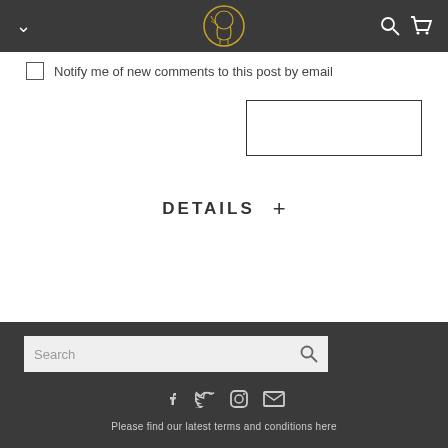Navigation bar with logo, chevron, search, and cart icons
Notify me of new comments to this post by email
DETAILS +
Search
Please find our latest terms and conditions here